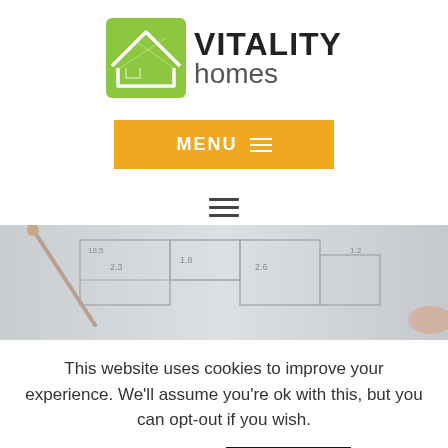[Figure (logo): Vitality Homes logo with green house icon and brand name]
MENU ☰
[Figure (other): Hamburger menu icon (three horizontal lines)]
[Figure (photo): Blueprint/architectural floor plan drawing with compass and pencil]
This website uses cookies to improve your experience. We'll assume you're ok with this, but you can opt-out if you wish.
Cookie settings
ACCEPT